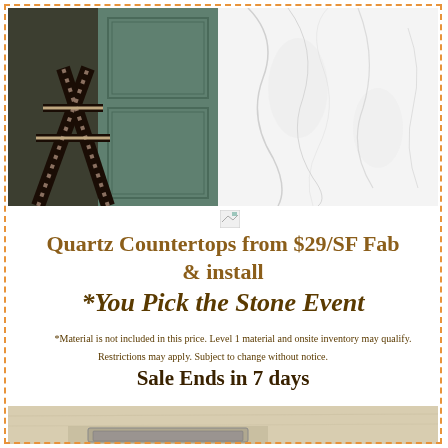[Figure (photo): Top split photo: left half shows dark kitchen cabinetry/hardware with a dark A-frame bar stool or ladder structure against teal/green paneled cabinetry; right half shows white marble surface with grey veining.]
[Figure (photo): Small broken image icon placeholder]
Quartz Countertops from $29/SF Fab & install
*You Pick the Stone Event
*Material is not included in this price. Level 1 material and onsite inventory may qualify. Restrictions may apply. Subject to change without notice.
Sale Ends in 7 days
[Figure (photo): Bottom photo showing white/cream quartz countertop with a sink cutout and stainless steel sink installation detail.]